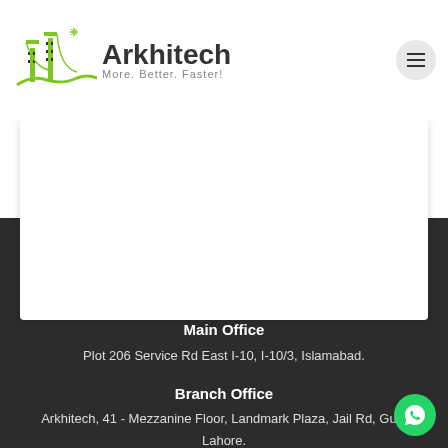[Figure (logo): Arkhitech logo with green bridge/buildings icon and text 'Arkhitech More. Better. Faster!']
Main Office
Plot 206 Service Rd East I-10, I-10/3, Islamabad.
Branch Office
Arkhitech, 41 - Mezzanine Floor, Landmark Plaza, Jail Rd, Gulb
Lahore.